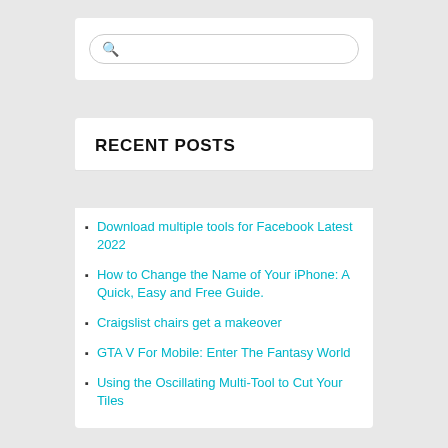[Figure (screenshot): Search bar widget with magnifying glass icon and rounded border]
RECENT POSTS
Download multiple tools for Facebook Latest 2022
How to Change the Name of Your iPhone: A Quick, Easy and Free Guide.
Craigslist chairs get a makeover
GTA V For Mobile: Enter The Fantasy World
Using the Oscillating Multi-Tool to Cut Your Tiles